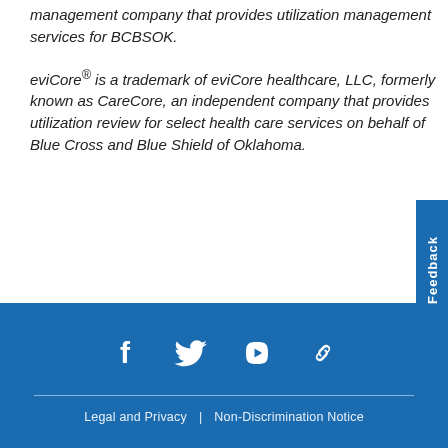management company that provides utilization management services for BCBSOK.
eviCore® is a trademark of eviCore healthcare, LLC, formerly known as CareCore, an independent company that provides utilization review for select health care services on behalf of Blue Cross and Blue Shield of Oklahoma.
Legal and Privacy | Non-Discrimination Notice